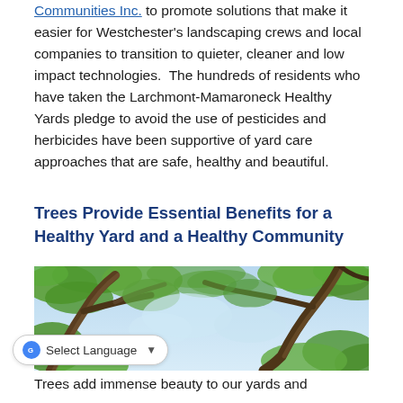Communities Inc. to promote solutions that make it easier for Westchester's landscaping crews and local companies to transition to quieter, cleaner and low impact technologies. The hundreds of residents who have taken the Larchmont-Mamaroneck Healthy Yards pledge to avoid the use of pesticides and herbicides have been supportive of yard care approaches that are safe, healthy and beautiful.
Trees Provide Essential Benefits for a Healthy Yard and a Healthy Community
[Figure (photo): Upward view through tall trees with green leafy canopy against a blue sky]
Trees add immense beauty to our yards and